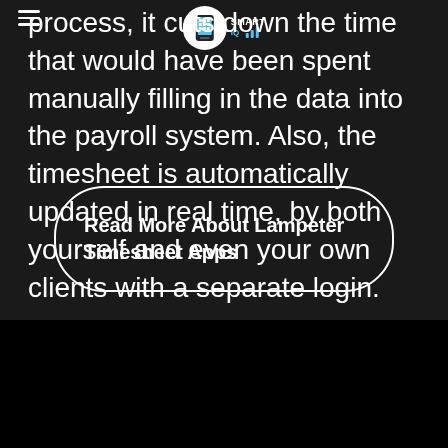SMART
process, it cuts down the time that would have been spent manually filling in the data into the payroll system. Also, the timesheet is automatically updated in real time, by both yourself and even your own clients with a separate login.
Read More About Lampeter Timesheet Apps